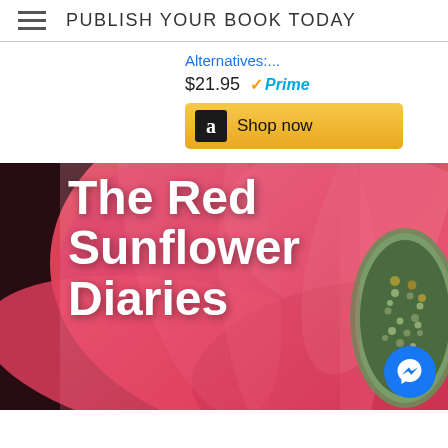PUBLISH YOUR BOOK TODAY
Alternatives:....
$21.95 ✓Prime
[Figure (screenshot): Amazon 'Shop now' button with Amazon logo on gold gradient background]
[Figure (photo): Book cover for 'The Red Sunflower Diaries' showing a close-up red/pink sunflower with text overlay. A Facebook Messenger bubble icon is in the bottom right corner.]